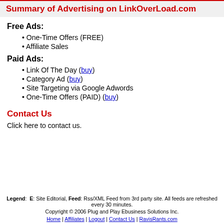Summary of Advertising on LinkOverLoad.com
Free Ads:
One-Time Offers (FREE)
Affiliate Sales
Paid Ads:
Link Of The Day (buy)
Category Ad (buy)
Site Targeting via Google Adwords
One-Time Offers (PAID) (buy)
Contact Us
Click here to contact us.
Legend: E: Site Editorial, Feed: Rss/XML Feed from 3rd party site. All feeds are refreshed every 30 minutes. Copyright © 2006 Plug and Play Ebusiness Solutions Inc. Home | Affiliates | Logout | Contact Us | RavisRants.com